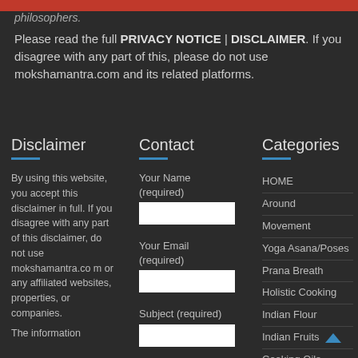philosophers.
Please read the full PRIVACY NOTICE | DISCLAIMER. If you disagree with any part of this, please do not use mokshamantra.com and its related platforms.
Disclaimer
By using this website, you accept this disclaimer in full. If you disagree with any part of this disclaimer, do not use mokshamantra.com or any affiliated websites, properties, or companies.
The information
Contact
Your Name (required)
Your Email (required)
Subject (required)
Categories
HOME
Around
Movement
Yoga Asana/Poses
Prana Breath
Holistic Cooking
Indian Flour
Indian Fruits
Cooking Oils